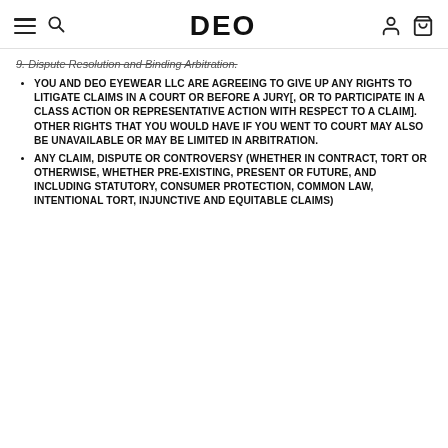DEO
9. Dispute Resolution and Binding Arbitration.
YOU AND DEO EYEWEAR LLC ARE AGREEING TO GIVE UP ANY RIGHTS TO LITIGATE CLAIMS IN A COURT OR BEFORE A JURY[, OR TO PARTICIPATE IN A CLASS ACTION OR REPRESENTATIVE ACTION WITH RESPECT TO A CLAIM]. OTHER RIGHTS THAT YOU WOULD HAVE IF YOU WENT TO COURT MAY ALSO BE UNAVAILABLE OR MAY BE LIMITED IN ARBITRATION.
ANY CLAIM, DISPUTE OR CONTROVERSY (WHETHER IN CONTRACT, TORT OR OTHERWISE, WHETHER PRE-EXISTING, PRESENT OR FUTURE, AND INCLUDING STATUTORY, CONSUMER PROTECTION, COMMON LAW, INTENTIONAL TORT, INJUNCTIVE AND EQUITABLE CLAIMS)